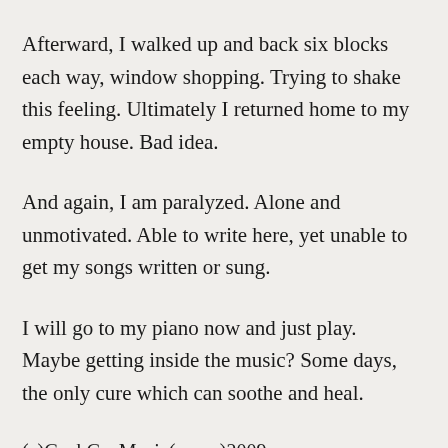Afterward, I walked up and back six blocks each way, window shopping. Trying to shake this feeling. Ultimately I returned home to my empty house. Bad idea.
And again, I am paralyzed. Alone and unmotivated. Able to write here, yet unable to get my songs written or sung.
I will go to my piano now and just play. Maybe getting inside the music? Some days,  the only cure which can soothe and heal.
(c)GoshGusMusic(ascap)2009